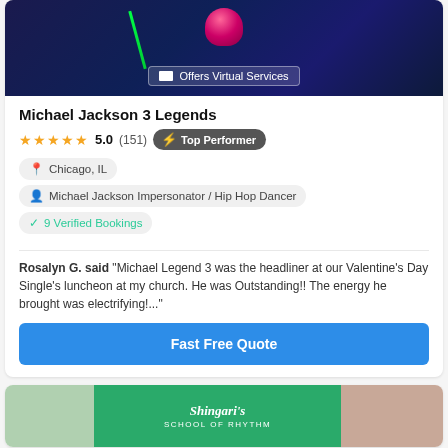[Figure (photo): Dark stage performance photo with neon green lights and colorful decorative hat element, with 'Offers Virtual Services' badge overlay]
Michael Jackson 3 Legends
★★★★★ 5.0 (151) Top Performer
Chicago, IL
Michael Jackson Impersonator / Hip Hop Dancer
9 Verified Bookings
Rosalyn G. said "Michael Legend 3 was the headliner at our Valentine's Day Single's luncheon at my church. He was Outstanding!! The energy he brought was electrifying!..."
Fast Free Quote
[Figure (logo): Shingari's School of Rhythm logo on green background, with partial photo sections on left and right]